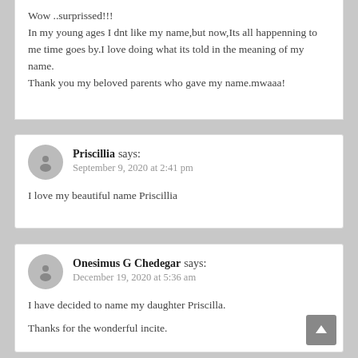Wow ..surprissed!!!
In my young ages I dnt like my name,but now,Its all happenning to me time goes by.I love doing what its told in the meaning of my name.
Thank you my beloved parents who gave my name.mwaaa!
Priscillia says:
September 9, 2020 at 2:41 pm
I love my beautiful name Priscillia
Onesimus G Chedegar says:
December 19, 2020 at 5:36 am
I have decided to name my daughter Priscilla.
Thanks for the wonderful incite.